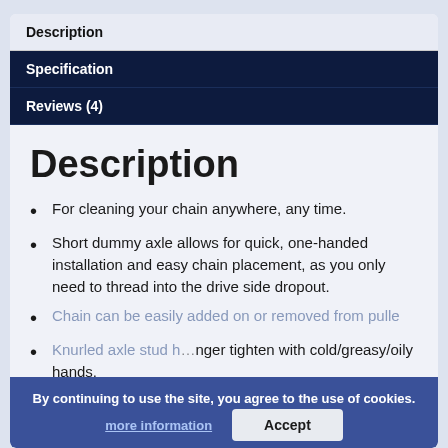Description
Specification
Reviews (4)
Description
For cleaning your chain anywhere, any time.
Short dummy axle allows for quick, one-handed installation and easy chain placement, as you only need to thread into the drive side dropout.
Chain can be easily added on or removed from pulle…
Knurled axle stud h… … longer tighten with cold/greasy/oily hands.
Pulley is captured on the dummy axle…
By continuing to use the site, you agree to the use of cookies.
more information
Accept